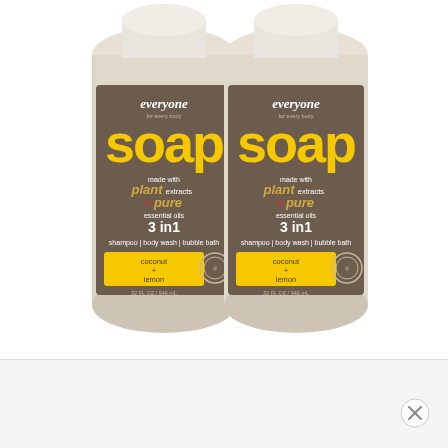[Figure (photo): Two identical bottles of Everyone Soap (coconut + lemon) side by side. Each bottle has a brown label with white 'everyone for every body' text at top, large yellow 'soap' text, text reading 'made with plant extracts + pure essential oils', '3 in 1', 'shampoo | body wash | bubble bath', and a yellow panel at bottom showing 'coconut + lemon' and '32 FL OZ / 946 mL'. Each bottle also has a circular certification logo on the label.]